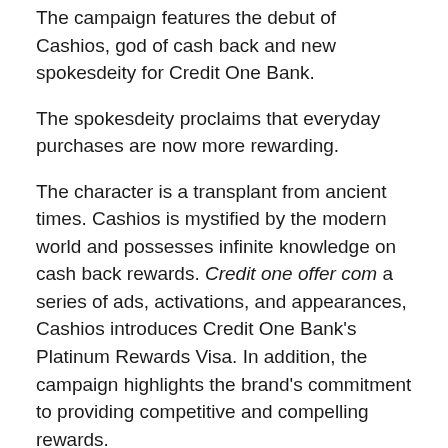The campaign features the debut of Cashios, god of cash back and new spokesdeity for Credit One Bank.
The spokesdeity proclaims that everyday purchases are now more rewarding.
The character is a transplant from ancient times. Cashios is mystified by the modern world and possesses infinite knowledge on cash back rewards. Credit one offer com a series of ads, activations, and appearances, Cashios introduces Credit One Bank's Platinum Rewards Visa. In addition, the campaign highlights the brand's commitment to providing competitive and compelling rewards.
Cashios decreed: “In return for Credit One Bank’s finest credit card, I shall grace their commercials with my presence. And spread their name to the farthest reaches of this realm.”